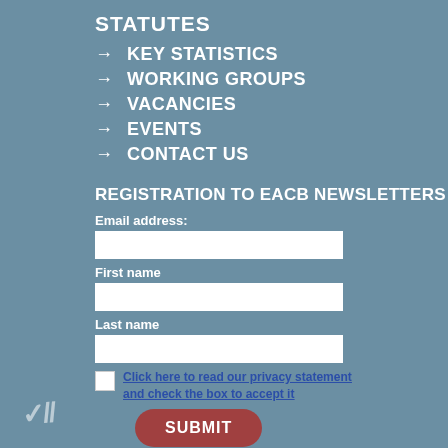STATUTES
→ KEY STATISTICS
→ WORKING GROUPS
→ VACANCIES
→ EVENTS
→ CONTACT US
REGISTRATION TO EACB NEWSLETTERS
Email address:
First name
Last name
Click here to read our privacy statement and check the box to accept it
SUBMIT